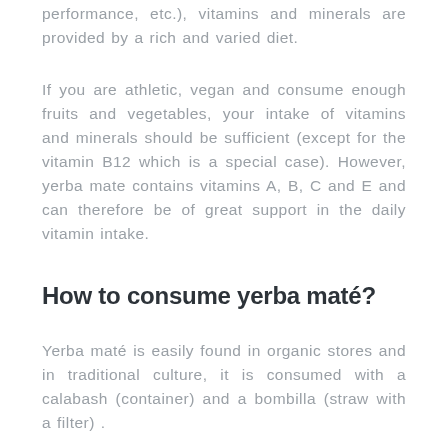performance, etc.), vitamins and minerals are provided by a rich and varied diet.
If you are athletic, vegan and consume enough fruits and vegetables, your intake of vitamins and minerals should be sufficient (except for the vitamin B12 which is a special case). However, yerba mate contains vitamins A, B, C and E and can therefore be of great support in the daily vitamin intake.
How to consume yerba maté?
Yerba maté is easily found in organic stores and in traditional culture, it is consumed with a calabash (container) and a bombilla (straw with a filter) .
It is also possible to consume it as a classic infusion (like a traditional tea), you just have to be careful not to use boiling water because it